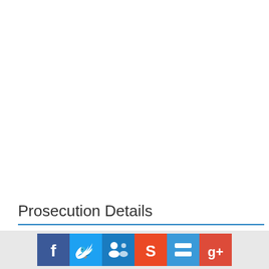Prosecution Details
| S No | Defaulting | Court | Prosecution | Date | Status |
| --- | --- | --- | --- | --- | --- |